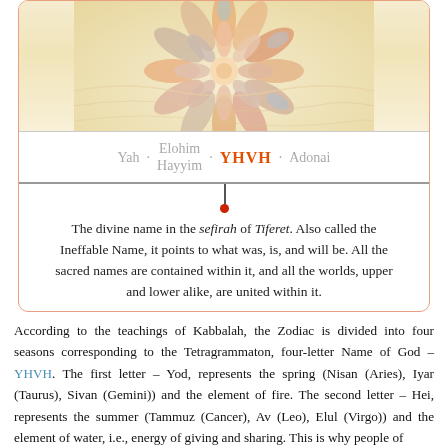[Figure (illustration): Decorative flower/mandala illustration with petal shapes in warm orange, pink, and yellow tones on a light background, partially visible at top of card.]
Yah · Elohim Hayyim · YHVH · Adonai
The divine name in the sefirah of Tiferet. Also called the Ineffable Name, it points to what was, is, and will be. All the sacred names are contained within it, and all the worlds, upper and lower alike, are united within it.
According to the teachings of Kabbalah, the Zodiac is divided into four seasons corresponding to the Tetragrammaton, four-letter Name of God – YHVH. The first letter – Yod, represents the spring (Nisan (Aries), Iyar (Taurus), Sivan (Gemini)) and the element of fire. The second letter – Hei, represents the summer (Tammuz (Cancer), Av (Leo), Elul (Virgo)) and the element of water, i.e., energy of giving and sharing. This is why people of